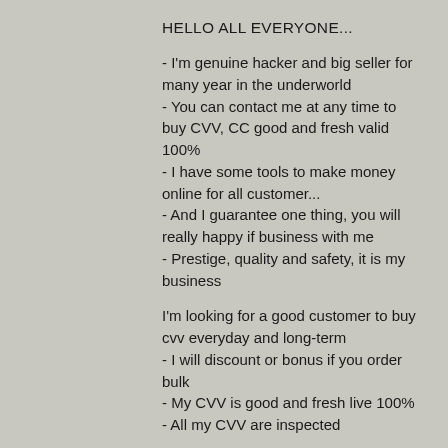HELLO ALL EVERYONE...
- I'm genuine hacker and big seller for many year in the underworld
- You can contact me at any time to buy CVV, CC good and fresh valid 100%
- I have some tools to make money online for all customer...
- And I guarantee one thing, you will really happy if business with me
- Prestige, quality and safety, it is my business
I'm looking for a good customer to buy cvv everyday and long-term
- I will discount or bonus if you order bulk
- My CVV is good and fresh live 100%
- All my CVV are inspected